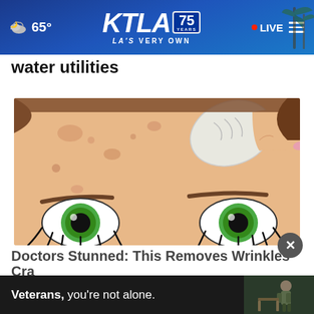65° KTLA 75 YEARS — LA'S VERY OWN — LIVE
water utilities
[Figure (illustration): Animated/cartoon style illustration of a woman's face with blemished skin being wiped with a white cotton pad, showing exaggerated cartoon eyes with green irises and long eyelashes.]
Doctors Stunned: This Removes Wrinkles Like Cra
Extre
Veterans, you're not alone.